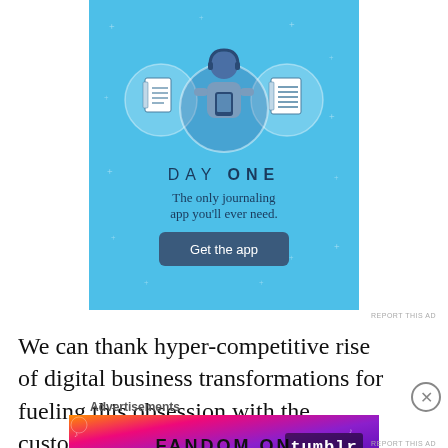[Figure (illustration): Day One journaling app advertisement with light blue background, showing a person holding a phone flanked by notebook icons in circles. Text reads 'DAY ONE - The only journaling app you'll ever need.' with a 'Get the app' button.]
REPORT THIS AD
We can thank hyper-competitive rise of digital business transformations for fueling this obsession with the customer experience. (and
Advertisements
[Figure (illustration): Fandom on Tumblr advertisement with colorful gradient background (orange to purple), showing 'FANDOM ON tumblr' text in bold letters with decorative elements.]
REPORT THIS AD